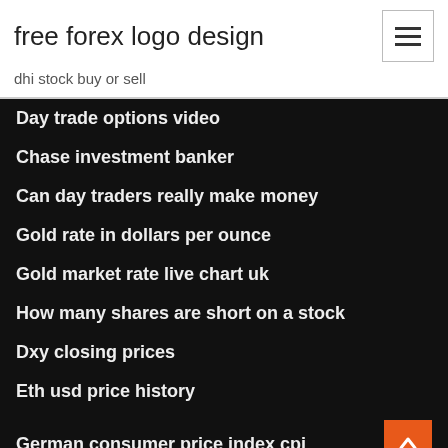free forex logo design
dhi stock buy or sell
Day trade options video
Chase investment banker
Can day traders really make money
Gold rate in dollars per ounce
Gold market rate live chart uk
How many shares are short on a stock
Dxy closing prices
Eth usd price history
German consumer price index cpi
Cryptocurrency trading volume over time